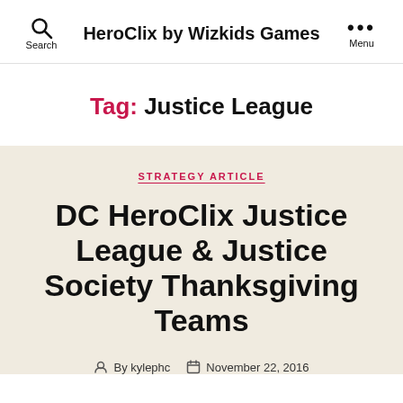HeroClix by Wizkids Games
Tag: Justice League
STRATEGY ARTICLE
DC HeroClix Justice League & Justice Society Thanksgiving Teams
By kylephc   November 22, 2016